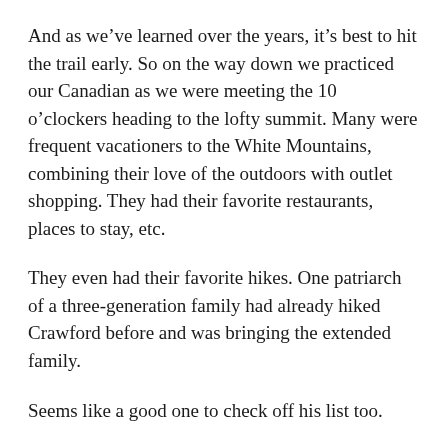And as we've learned over the years, it's best to hit the trail early. So on the way down we practiced our Canadian as we were meeting the 10 o'clockers heading to the lofty summit. Many were frequent vacationers to the White Mountains, combining their love of the outdoors with outlet shopping. They had their favorite restaurants, places to stay, etc.
They even had their favorite hikes. One patriarch of a three-generation family had already hiked Crawford before and was bringing the extended family.
Seems like a good one to check off his list too.
List or not, get to Mount Crawford.
As they say, c'est bon.